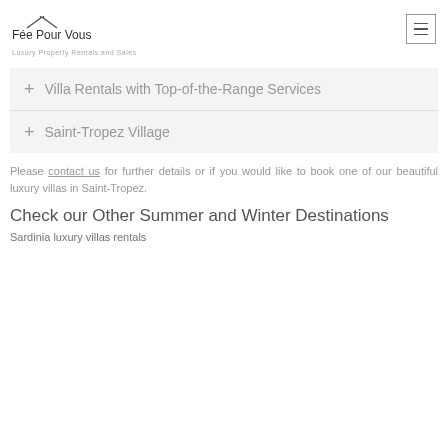Fée Pour Vous — Luxury Property Rentals and Sales
Villa Rentals with Top-of-the-Range Services
Saint-Tropez Village
Please contact us for further details or if you would like to book one of our beautiful luxury villas in Saint-Tropez.
Check our Other Summer and Winter Destinations
Sardinia luxury villas rentals